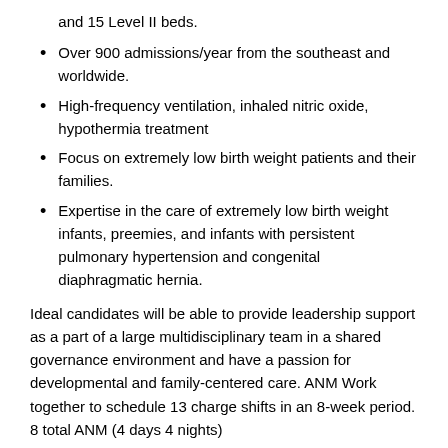and 15 Level II beds.
Over 900 admissions/year from the southeast and worldwide.
High-frequency ventilation, inhaled nitric oxide, hypothermia treatment
Focus on extremely low birth weight patients and their families.
Expertise in the care of extremely low birth weight infants, preemies, and infants with persistent pulmonary hypertension and congenital diaphragmatic hernia.
Ideal candidates will be able to provide leadership support as a part of a large multidisciplinary team in a shared governance environment and have a passion for developmental and family-centered care. ANM Work together to schedule 13 charge shifts in an 8-week period. 8 total ANM (4 days 4 nights)
Intensive Care Nursery experience required; level III or level